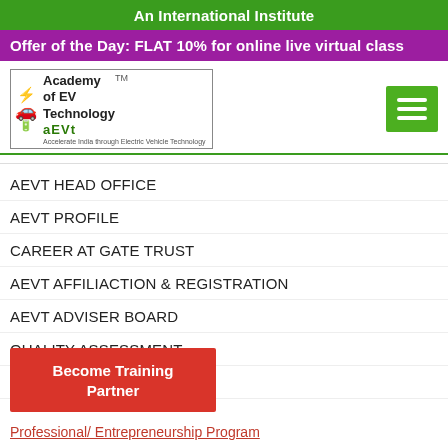An International Institute
Offer of the Day: FLAT 10% for online live virtual class
[Figure (logo): Academy of EV Technology (AEVT) logo with electric vehicle icon]
AEVT HEAD OFFICE
AEVT PROFILE
CAREER AT GATE TRUST
AEVT AFFILIACTION & REGISTRATION
AEVT ADVISER BOARD
QUALITY ASSESSMENT
AEVT ALUMNI
Contact Us
+918296353254
+918479838828
11 AM to 6 PM
Become Training Partner
Professional/ Entrepreneurship Program